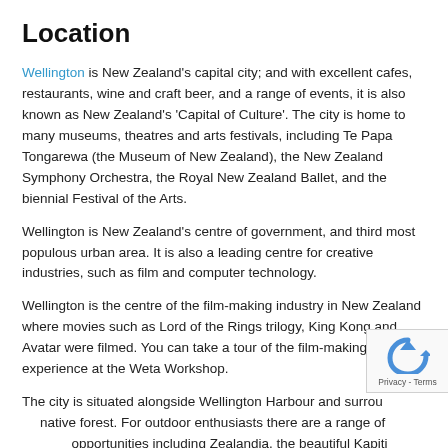Location
Wellington is New Zealand's capital city; and with excellent cafes, restaurants, wine and craft beer, and a range of events, it is also known as New Zealand's 'Capital of Culture'. The city is home to many museums, theatres and arts festivals, including Te Papa Tongarewa (the Museum of New Zealand), the New Zealand Symphony Orchestra, the Royal New Zealand Ballet, and the biennial Festival of the Arts.
Wellington is New Zealand's centre of government, and third most populous urban area. It is also a leading centre for creative industries, such as film and computer technology.
Wellington is the centre of the film-making industry in New Zealand where movies such as Lord of the Rings trilogy, King Kong and Avatar were filmed. You can take a tour of the film-making experience at the Weta Workshop.
The city is situated alongside Wellington Harbour and surrounded by native forest. For outdoor enthusiasts there are a range of opportunities including Zealandia, the beautiful Kapiti Coast, the Wairarapa wine region and Rimutaka Forest Park.